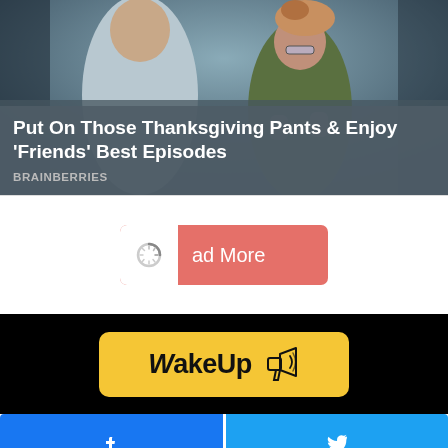[Figure (photo): Scene from Friends TV show with person holding a turkey on their head, two people visible in a dimly lit room]
Put On Those Thanksgiving Pants & Enjoy 'Friends' Best Episodes
BRAINBERRIES
[Figure (other): Load More button with spinner icon on coral/salmon background]
[Figure (logo): WakeUp logo on yellow rounded rectangle badge with megaphone icon]
[Figure (other): Facebook share button (blue) and Twitter share button (light blue) side by side]